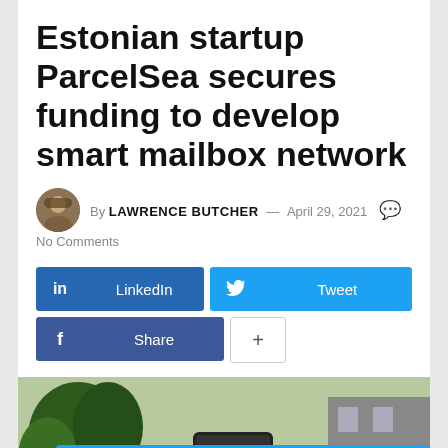Estonian startup ParcelSea secures funding to develop smart mailbox network
By LAWRENCE BUTCHER — April 29, 2021
No Comments
[Figure (infographic): Social sharing buttons: LinkedIn (dark blue), Tweet (light blue), Share/Facebook (dark blue), and a + button]
[Figure (photo): Outdoor photo showing a ParcelSea smart mailbox device in a garden setting with trees and a building in background. A blue cookie consent banner overlays the bottom: 'This site uses cookies. By continuing to browse the site you are agreeing to our use of cookies. Find out more here [X]']